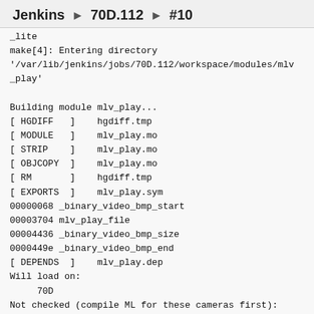Jenkins ▶ 70D.112 ▶ #10
_lite
make[4]: Entering directory
'/var/lib/jenkins/jobs/70D.112/workspace/modules/mlv_play'

Building module mlv_play...
[ HGDIFF   ]    hgdiff.tmp
[ MODULE   ]    mlv_play.mo
[ STRIP    ]    mlv_play.mo
[ OBJCOPY  ]    mlv_play.mo
[ RM       ]    hgdiff.tmp
[ EXPORTS  ]    mlv_play.sym
00000068 _binary_video_bmp_start
00003704 mlv_play_file
00004436 _binary_video_bmp_size
0000449e _binary_video_bmp_end
[ DEPENDS  ]    mlv_play.dep
Will load on:
     70D
Not checked (compile ML for these cameras first):
     1100D, 500D, 50D, 550D, 5D2, 5D3.113, 5D3.123,